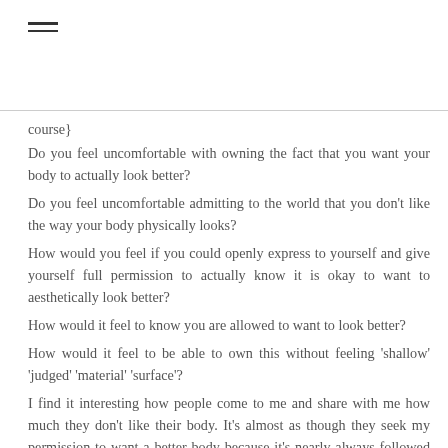≡ (hamburger menu icon)
course}
Do you feel uncomfortable with owning the fact that you want your body to actually look better?
Do you feel uncomfortable admitting to the world that you don't like the way your body physically looks?
How would you feel if you could openly express to yourself and give yourself full permission to actually know it is okay to want to aesthetically look better?
How would it feel to know you are allowed to want to look better?
How would it feel to be able to own this without feeling 'shallow' 'judged' 'material' 'surface'?
I find it interesting how people come to me and share with me how much they don't like their body. It's almost as though they seek my permission to want a better body because it's nearly always followed with 'well not that that matters completely' or 'it's not all about the body for me' or 'I mean I just want to feel better, and the connection with my inner work is like…'